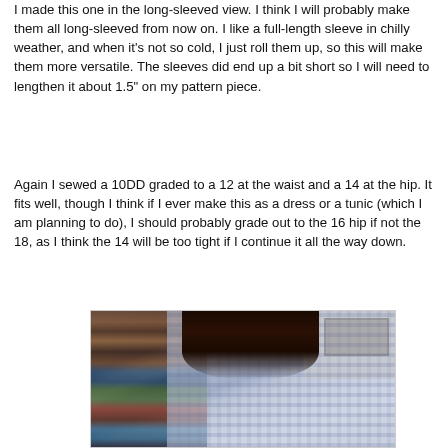I made this one in the long-sleeved view.  I think I will probably make them all long-sleeved from now on.  I like a full-length sleeve in chilly weather, and when it's not so cold, I just roll them up, so this will make them more versatile.  The sleeves did end up a bit short so I will need to lengthen it about 1.5" on my pattern piece.
Again I sewed a 10DD graded to a 12 at the waist and a 14 at the hip.  It fits well, though I think if I ever make this as a dress or a tunic (which I am planning to do), I should probably grade out to the 16 hip if not the 18, as I think the 14 will be too tight if I continue it all the way down.
[Figure (photo): A person wearing a blue and white plaid long-sleeved shirt, shown from the side/back, with dark hair. Bookshelves with books visible in the background on the left, and a wall with a framed picture on the upper right.]